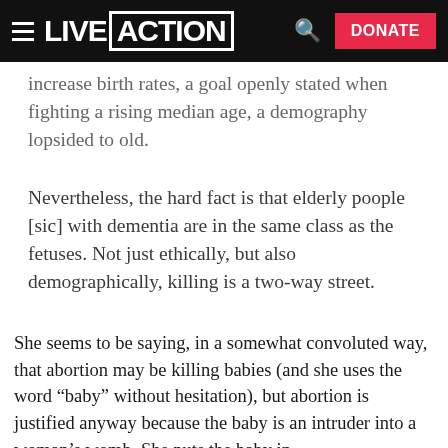LIVE ACTION | DONATE
increase birth rates, a goal openly stated when fighting a rising median age, a demography lopsided to old.
Nevertheless, the hard fact is that elderly poople [sic] with dementia are in the same class as the fetuses. Not just ethically, but also demographically, killing is a two-way street.
She seems to be saying, in a somewhat convoluted way, that abortion may be killing babies (and she uses the word “baby” without hesitation), but abortion is justified anyway because the baby is an intruder into a woman’s womb. She puts the baby in